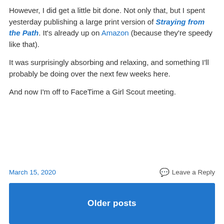However, I did get a little bit done. Not only that, but I spent yesterday publishing a large print version of Straying from the Path. It's already up on Amazon (because they're speedy like that).
It was surprisingly absorbing and relaxing, and something I'll probably be doing over the next few weeks here.
And now I'm off to FaceTime a Girl Scout meeting.
March 15, 2020 | Leave a Reply
Older posts